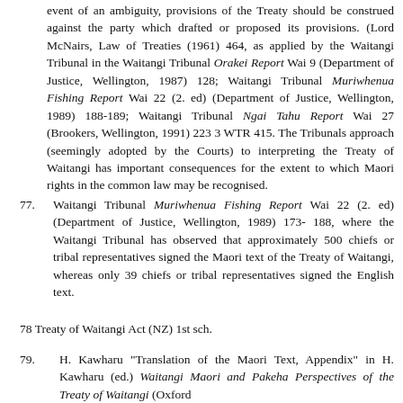event of an ambiguity, provisions of the Treaty should be construed against the party which drafted or proposed its provisions. (Lord McNairs, Law of Treaties (1961) 464, as applied by the Waitangi Tribunal in the Waitangi Tribunal Orakei Report Wai 9 (Department of Justice, Wellington, 1987) 128; Waitangi Tribunal Muriwhenua Fishing Report Wai 22 (2. ed) (Department of Justice, Wellington, 1989) 188-189; Waitangi Tribunal Ngai Tahu Report Wai 27 (Brookers, Wellington, 1991) 223 3 WTR 415. The Tribunals approach (seemingly adopted by the Courts) to interpreting the Treaty of Waitangi has important consequences for the extent to which Maori rights in the common law may be recognised.
77. Waitangi Tribunal Muriwhenua Fishing Report Wai 22 (2. ed) (Department of Justice, Wellington, 1989) 173-188, where the Waitangi Tribunal has observed that approximately 500 chiefs or tribal representatives signed the Maori text of the Treaty of Waitangi, whereas only 39 chiefs or tribal representatives signed the English text.
78 Treaty of Waitangi Act (NZ) 1st sch.
79. H. Kawharu "Translation of the Maori Text, Appendix" in H. Kawharu (ed.) Waitangi Maori and Pakeha Perspectives of the Treaty of Waitangi (Oxford